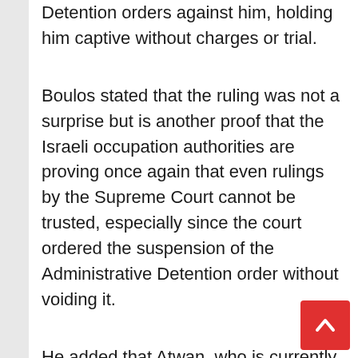Detention orders against him, holding him captive without charges or trial.
Boulos stated that the ruling was not a surprise but is another proof that the Israeli occupation authorities are proving once again that even rulings by the Supreme Court cannot be trusted, especially since the court ordered the suspension of the Administrative Detention order without voiding it.
He added that Atwan, who is currently at an Israeli medical center, is still refusing medical treatment, and is demanding to be released to receive the needed treatment at a Palestinian hospital.
The PPS said that Atwan is facing a serious